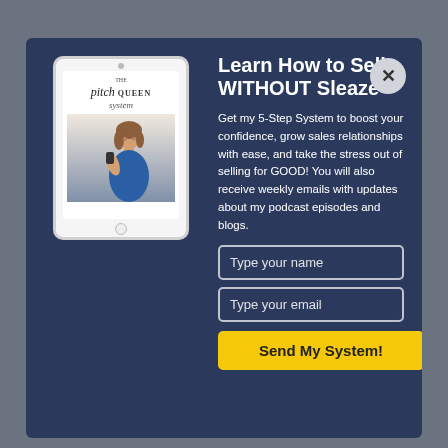[Figure (screenshot): Modal popup with dark navy background. Left side shows a tablet device displaying 'The Pitch Queen System' e-book cover with a woman talking on the phone. Right side has headline, body text, two form fields and a button.]
Learn How to Sell WITHOUT Sleaze
Get my 5-Step System to boost your confidence, grow sales relationships with ease, and take the stress out of selling for GOOD! You will also receive weekly emails with updates about my podcast episodes and blogs.
Type your name
Type your email
Send My System!